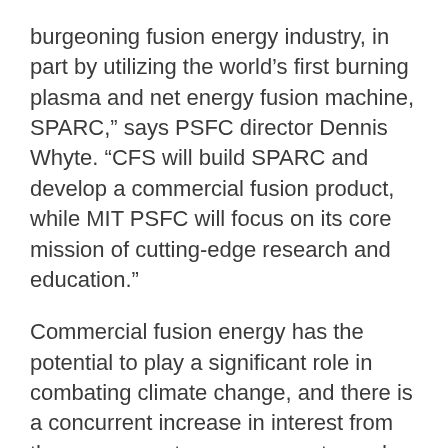burgeoning fusion energy industry, in part by utilizing the world’s first burning plasma and net energy fusion machine, SPARC,” says PSFC director Dennis Whyte. “CFS will build SPARC and develop a commercial fusion product, while MIT PSFC will focus on its core mission of cutting-edge research and education.”
Commercial fusion energy has the potential to play a significant role in combating climate change, and there is a concurrent increase in interest from the energy sector, governments, and foundations. The new agreement, administered by the MIT Energy Initiative (MITEI), where CFS is a startup member, will help PSFC